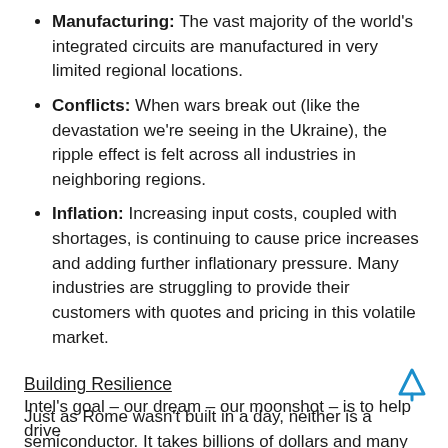Manufacturing: The vast majority of the world's integrated circuits are manufactured in very limited regional locations.
Conflicts: When wars break out (like the devastation we're seeing in the Ukraine), the ripple effect is felt across all industries in neighboring regions.
Inflation: Increasing input costs, coupled with shortages, is continuing to cause price increases and adding further inflationary pressure. Many industries are struggling to provide their customers with quotes and pricing in this volatile market.
Building Resilience
Just as Rome wasn't built in a day, neither is a semiconductor. It takes billions of dollars and many years to build a fab, but we can't ignore the importance of rebalancing manufacturing and foundry services to more regions.
Intel's goal – our dream – our moonshot – is to help drive